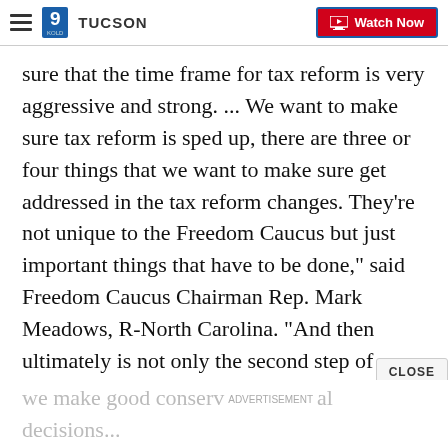9 TUCSON | Watch Now
sure that the time frame for tax reform is very aggressive and strong. ... We want to make sure tax reform is sped up, there are three or four things that we want to make sure get addressed in the tax reform changes. They're not unique to the Freedom Caucus but just important things that have to be done," said Freedom Caucus Chairman Rep. Mark Meadows, R-North Carolina. "And then ultimately is not only the second step of funding but what is the third and fourth and fifth step if necessary, and making sure that we fully understand those and how we best make sure
we make good conserv ADVERTISEMENT al decisions...